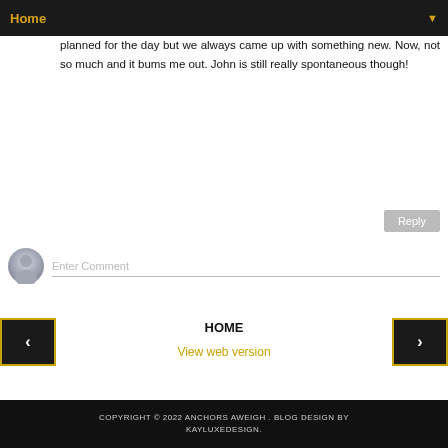Home
planned for the day but we always came up with something new. Now, not so much and it bums me out. John is still really spontaneous though!
Reply
Enter Comment
HOME
View web version
COPYRIGHT © 2022 ANCHORS AWEIGH . BLOG DESIGN BY KAYLUXEDESIGN.